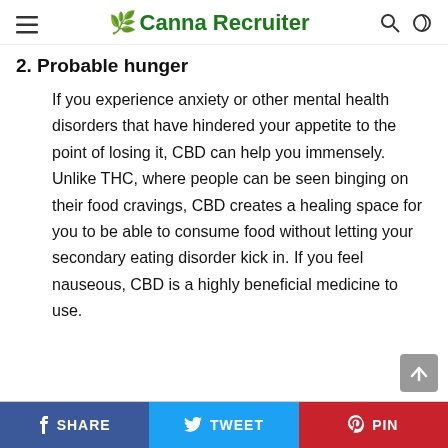≡  🌿 Canna Recruiter  🔍 ◑
2. Probable hunger
If you experience anxiety or other mental health disorders that have hindered your appetite to the point of losing it, CBD can help you immensely. Unlike THC, where people can be seen binging on their food cravings, CBD creates a healing space for you to be able to consume food without letting your secondary eating disorder kick in. If you feel nauseous, CBD is a highly beneficial medicine to use.
f SHARE   🐦 TWEET   𝓟 PIN